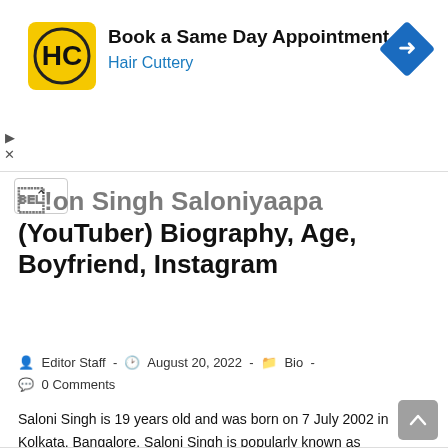[Figure (other): Hair Cuttery advertisement banner with logo, text 'Book a Same Day Appointment' and 'Hair Cuttery', and a blue navigation sign icon]
Saloni Singh Saloniyaapa (YouTuber) Biography, Age, Boyfriend, Instagram
Editor Staff  -  August 20, 2022  -  Bio  -  0 Comments
Saloni Singh is 19 years old and was born on 7 July 2002 in Kolkata, Bangalore. Saloni Singh is popularly known as Saloniyaapa on social media. She is a famous…
Continue Reading ›